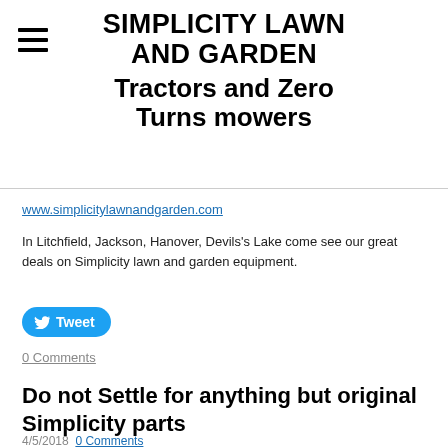SIMPLICITY LAWN AND GARDEN Tractors and Zero Turns mowers
www.simplicitylawnandgarden.com
In Litchfield, Jackson, Hanover, Devils's Lake come see our great deals on Simplicity lawn and garden equipment.
[Figure (other): Twitter Tweet button (blue pill-shaped button with bird icon and 'Tweet' text)]
0 Comments
Do not Settle for anything but original Simplicity parts
4/5/2018   0 Comments